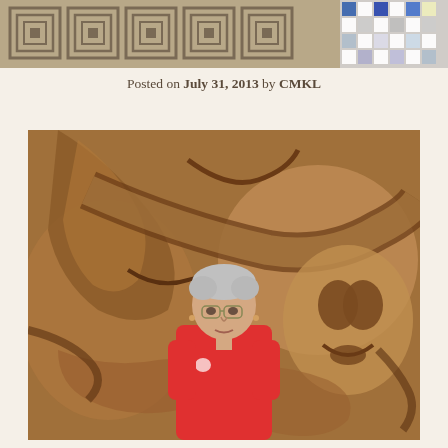[Figure (photo): Decorative geometric patterned textile strip at top of page with blue, white, and dark tones]
Posted on July 31, 2013 by CMKL
[Figure (photo): Older woman with short gray hair and glasses wearing a red polo shirt, standing in front of a large intricate wood carving featuring Northwest Coast Indigenous art motifs including animal and face forms]